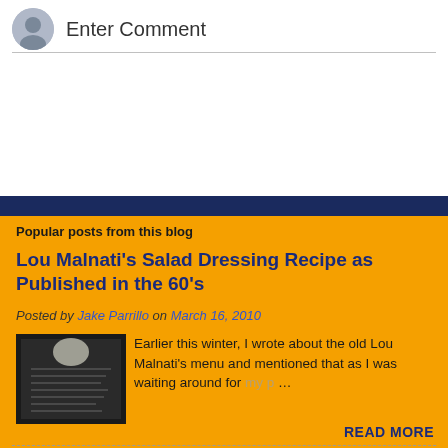Enter Comment
Popular posts from this blog
Lou Malnati's Salad Dressing Recipe as Published in the 60's
Posted by Jake Parrillo on March 16, 2010
[Figure (photo): Dark monochrome photo of handwritten or printed text document]
Earlier this winter, I wrote about the old Lou Malnati's menu and mentioned that as I was waiting around for my p …
READ MORE
A DIY (And Custom) Firewood Rack For This